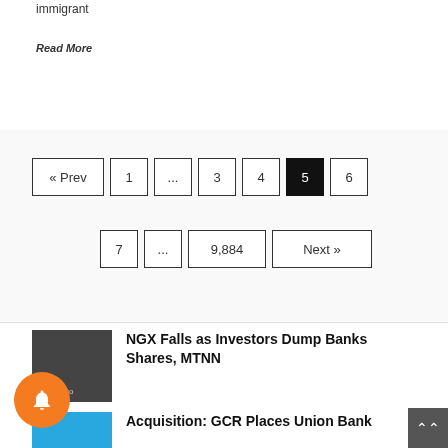immigrant
Read More
Pagination: « Prev, 1, ..., 3, 4, 5, 7, ..., 9,884, Next »
NGX Falls as Investors Dump Banks Shares, MTNN
Acquisition: GCR Places Union Bank